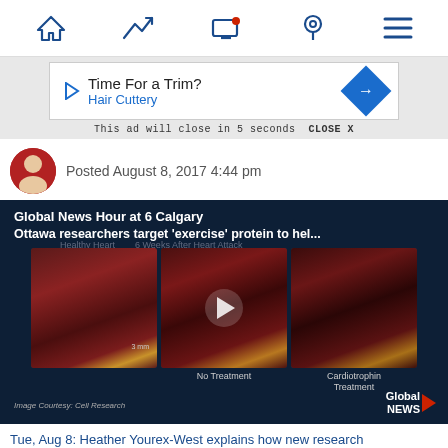[Figure (screenshot): Mobile app navigation bar with home, trending, notifications, location, and menu icons]
[Figure (screenshot): Advertisement banner: 'Time For a Trim? Hair Cuttery' with close countdown 'This ad will close in 5 seconds CLOSE X']
Posted August 8, 2017 4:44 pm
[Figure (screenshot): Video thumbnail showing heart tissue images: Healthy Heart, 6 Weeks After Heart Attack (No Treatment), Cardiotrophin Treatment. Global News Hour at 6 Calgary. Ottawa researchers target 'exercise' protein to hel... Image Courtesy: Cell Research. Global News logo.]
Tue, Aug 8: Heather Yourex-West explains how new research